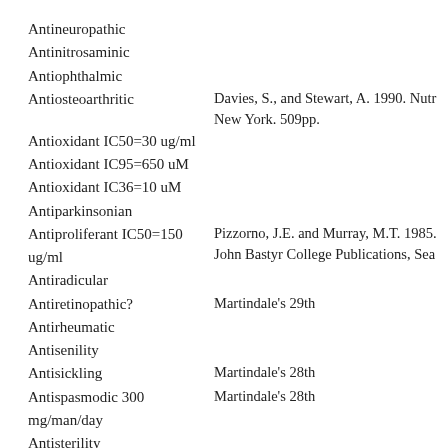Antineuropathic
Antinitrosaminic
Antiophthalmic
Antiosteoarthritic
Davies, S., and Stewart, A. 1990. Nutr New York. 509pp.
Antioxidant IC50=30 ug/ml
Antioxidant IC95=650 uM
Antioxidant IC36=10 uM
Antiparkinsonian
Antiproliferant IC50=150 ug/ml
Pizzorno, J.E. and Murray, M.T. 1985. John Bastyr College Publications, Sea
Antiradicular
Antiretinopathic?
Martindale's 29th
Antirheumatic
Antisenility
Antisickling
Martindale's 28th
Antispasmodic 300 mg/man/day
Martindale's 28th
Antisterility
Antistroke
Davies, S., and Stewart, A. 1990. Nutr